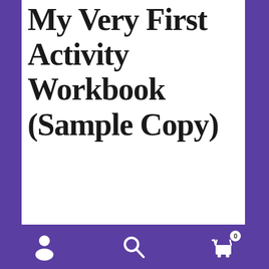My Very First Activity Workbook (Sample Copy)
€9
My Very First Activity Workbook (One single sample copy, price includes postage to any address in Ireland). If you'd like to make payment another way that is no problem. Get in touch with me (Mags) directly or send me a message and I will get back to you as soon as
cookies, please close this message and continue to use this site. Our Cookie Policy
Got it
navigation bar with user, search, and cart (0) icons